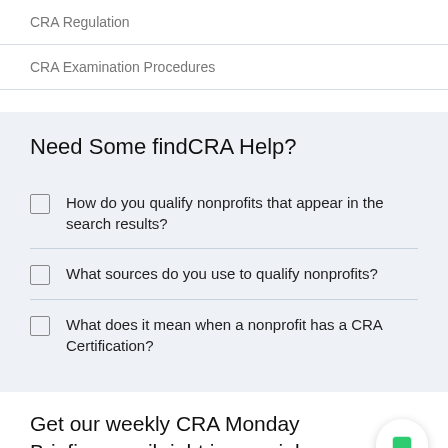CRA Regulation
CRA Examination Procedures
Need Some findCRA Help?
How do you qualify nonprofits that appear in the search results?
What sources do you use to qualify nonprofits?
What does it mean when a nonprofit has a CRA Certification?
Get our weekly CRA Monday Briefing email right in your inbox.